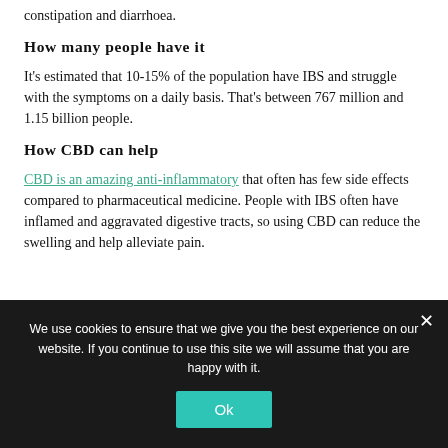constipation and diarrhoea.
How many people have it
It's estimated that 10-15% of the population have IBS and struggle with the symptoms on a daily basis. That's between 767 million and 1.15 billion people.
How CBD can help
CBD is an amazing anti-inflammatory that often has few side effects compared to pharmaceutical medicine. People with IBS often have inflamed and aggravated digestive tracts, so using CBD can reduce the swelling and help alleviate pain.
We use cookies to ensure that we give you the best experience on our website. If you continue to use this site we will assume that you are happy with it.